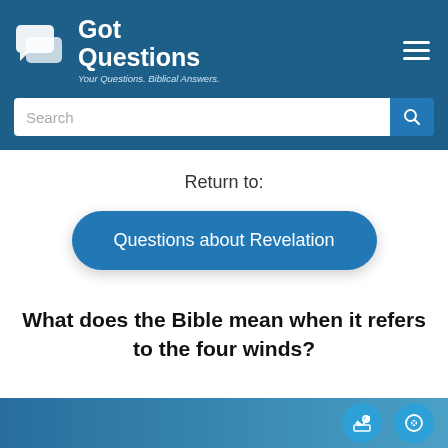[Figure (logo): GotQuestions logo with speech bubble icons and tagline 'Your Questions. Biblical Answers.']
Return to:
Questions about Revelation
What does the Bible mean when it refers to the four winds?